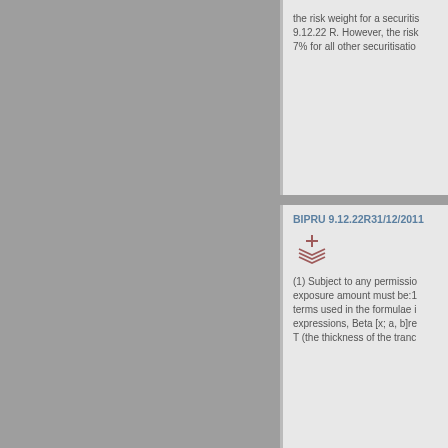the risk weight for a securitisation 9.12.22 R. However, the risk 7% for all other securitisatio
BIPRU 9.12.22R31/12/2011
(1) Subject to any permissio exposure amount must be:1 terms used in the formulae i expressions, Beta [x; a, b]re T (the thickness of the tranc
BIPRU 9.12.28G01/04/2013
(1) When it is not practical fo exposures as if they ha